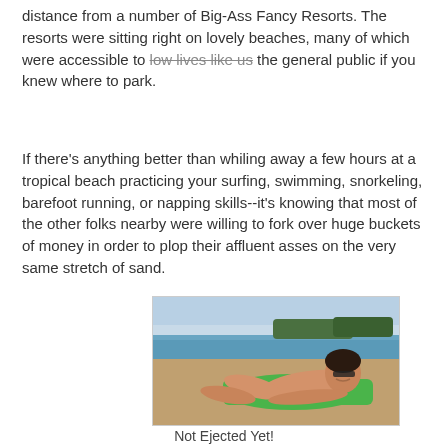distance from a number of Big-Ass Fancy Resorts. The resorts were sitting right on lovely beaches, many of which were accessible to [strikethrough: low lives like us] the general public if you knew where to park.
If there's anything better than whiling away a few hours at a tropical beach practicing your surfing, swimming, snorkeling, barefoot running, or napping skills--it's knowing that most of the other folks nearby were willing to fork over huge buckets of money in order to plop their affluent asses on the very same stretch of sand.
[Figure (photo): A woman in a blue bikini lying on a green towel on a sandy beach, wearing sunglasses and smiling at the camera. Resort area and ocean visible in the background.]
Not Ejected Yet!